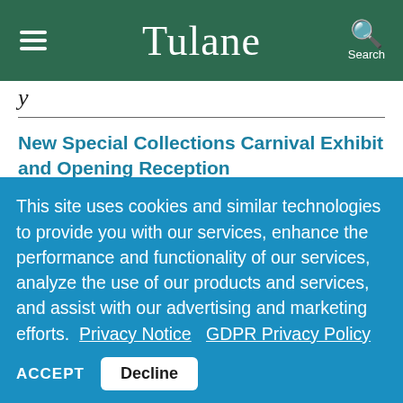Tulane
(partial page header text)
New Special Collections Carnival Exhibit and Opening Reception
(All day)
Uptown Campus, Jones Hall, 6801 Freret Street, 2nd Floor Special Collections Gallery
This site uses cookies and similar technologies to provide you with our services, enhance the performance and functionality of our services, analyze the use of our products and services, and assist with our advertising and marketing efforts. Privacy Notice  GDPR Privacy Policy
ACCEPT  Decline